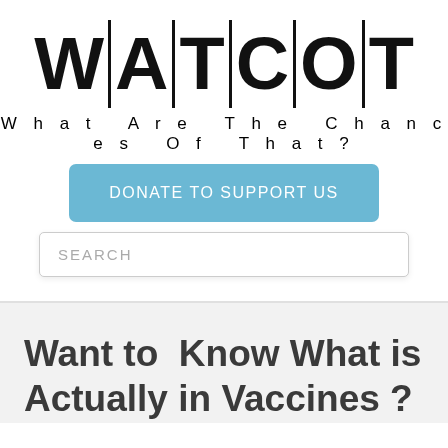[Figure (logo): WATCOT logo — stylized block letters W A T C O T separated by vertical bars]
What Are The Chances Of That?
DONATE TO SUPPORT US
SEARCH
Want to Know What is Actually in Vaccines?